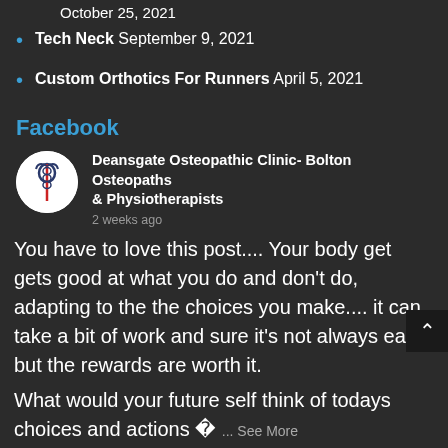October 25, 2021
Tech Neck September 9, 2021
Custom Orthotics For Runners April 5, 2021
Facebook
Deansgate Osteopathic Clinic- Bolton Osteopaths & Physiotherapists
2 weeks ago
You have to love this post.... Your body get gets good at what you do and don't do, adapting to the the choices you make.... it can take a bit of work and sure it's not always easy but the rewards are worth it.
What would your future self think of todays choices and actions � ... See More